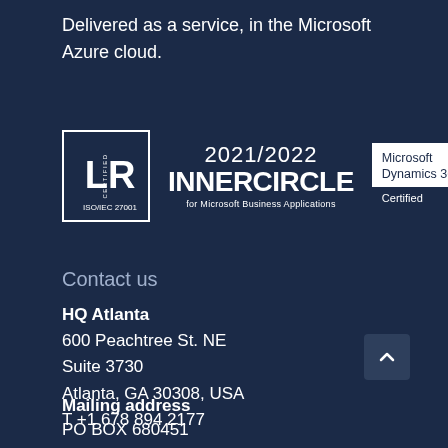Delivered as a service, in the Microsoft Azure cloud.
[Figure (logo): Three logos: LR Certified ISO/IEC 27001, 2021/2022 INNERCIRCLE for Microsoft Business Applications, Microsoft Dynamics 365 Certified]
Contact us
HQ Atlanta
600 Peachtree St. NE
Suite 3730
Atlanta, GA 30308, USA
T +1 678 894 2177
Mailing address
PO BOX 680451